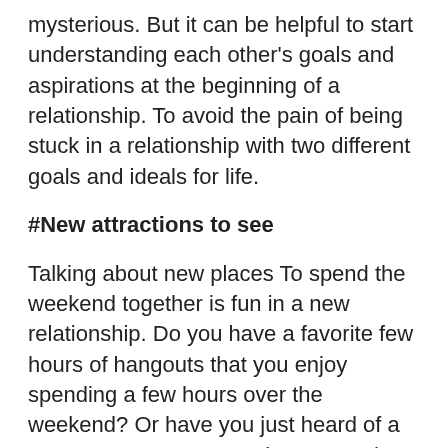mysterious. But it can be helpful to start understanding each other's goals and aspirations at the beginning of a relationship. To avoid the pain of being stuck in a relationship with two different goals and ideals for life.
#New attractions to see
Talking about new places To spend the weekend together is fun in a new relationship. Do you have a favorite few hours of hangouts that you enjoy spending a few hours over the weekend? Or have you just heard of a new restaurant or a movie you need to see? Talk about it.